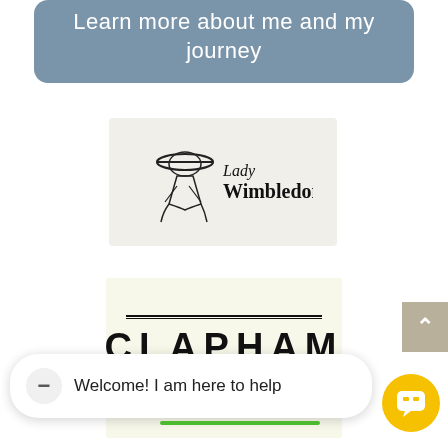Learn more about me and my journey
[Figure (logo): Lady Wimbledon logo with stylized female figure wearing a wide-brim hat]
[Figure (logo): Clapham Mums logo with bold lettering and double horizontal lines]
Welcome! I am here to help